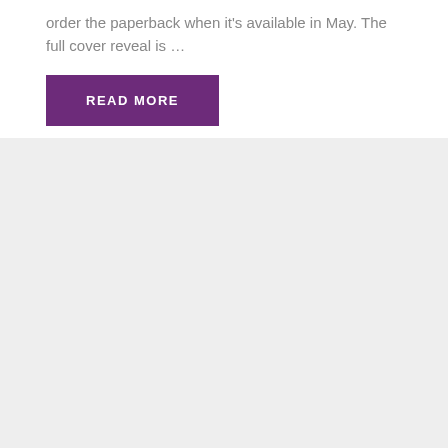order the paperback when it's available in May. The full cover reveal is …
READ MORE